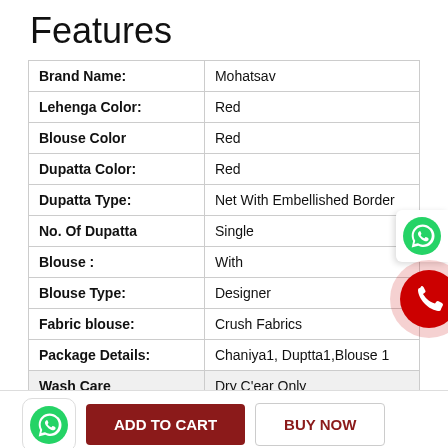Features
| Feature | Value |
| --- | --- |
| Brand Name: | Mohatsav |
| Lehenga Color: | Red |
| Blouse Color | Red |
| Dupatta Color: | Red |
| Dupatta Type: | Net With Embellished Border |
| No. Of Dupatta | Single |
| Blouse : | With |
| Blouse Type: | Designer |
| Fabric blouse: | Crush Fabrics |
| Package Details: | Chaniya1, Duptta1,Blouse 1 |
| Wash Care | Dry C'ear Only |